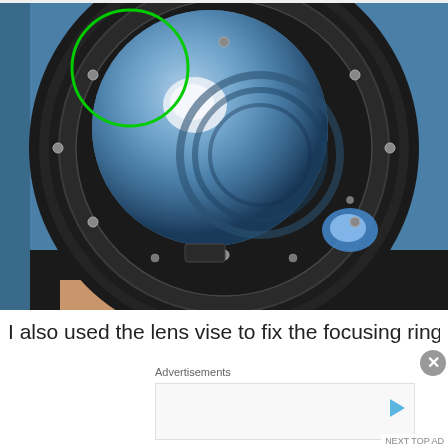[Figure (photo): Close-up photograph of the back of a camera lens (telephoto/zoom lens) showing the rear lens element with blue coating and reflections. A green circle annotation is drawn in the upper-left area of the lens barrel. The lens mount ring is visible with screws around the perimeter. The lens is being held by a hand against a blue background.]
I also used the lens vise to fix the focusing ring's front pa
Advertisements
NEXT TOP AD